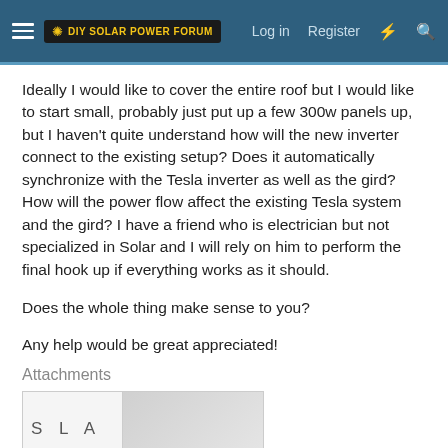DIY Solar Power Forum — Log in | Register
Ideally I would like to cover the entire roof but I would like to start small, probably just put up a few 300w panels up, but I haven't quite understand how will the new inverter connect to the existing setup? Does it automatically synchronize with the Tesla inverter as well as the gird? How will the power flow affect the existing Tesla system and the gird? I have a friend who is electrician but not specialized in Solar and I will rely on him to perform the final hook up if everything works as it should.
Does the whole thing make sense to you?
Any help would be great appreciated!
Attachments
[Figure (photo): Partial image of a Tesla solar product document or brochure, showing the Tesla wordmark on the left side and a grey panel/device on the right side.]